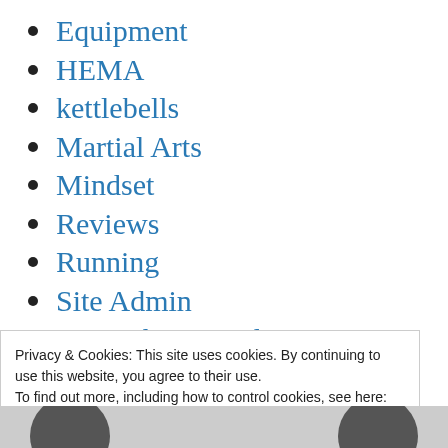Equipment
HEMA
kettlebells
Martial Arts
Mindset
Reviews
Running
Site Admin
Strength & Conditioning
Uncategorized
Wealth
Privacy & Cookies: This site uses cookies. By continuing to use this website, you agree to their use.
To find out more, including how to control cookies, see here: Cookie Policy
Close and accept